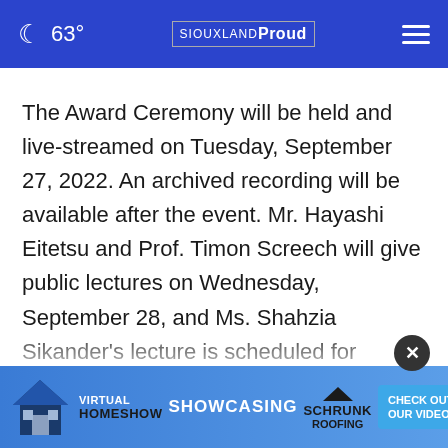63° SIOUXLAND Proud
The Award Ceremony will be held and live-streamed on Tuesday, September 27, 2022. An archived recording will be available after the event. Mr. Hayashi Eitetsu and Prof. Timon Screech will give public lectures on Wednesday, September 28, and Ms. Shahzia Sikander's lecture is scheduled for Friday, September 30. These lectures wi... be held...
[Figure (screenshot): Advertisement banner: Virtual Homeshow - Showcasing Schrunk Roofing - Check Out Our Video!]